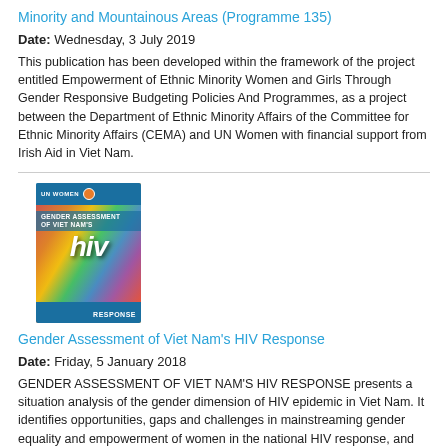Minority and Mountainous Areas (Programme 135)
Date: Wednesday, 3 July 2019
This publication has been developed within the framework of the project entitled Empowerment of Ethnic Minority Women and Girls Through Gender Responsive Budgeting Policies And Programmes, as a project between the Department of Ethnic Minority Affairs of the Committee for Ethnic Minority Affairs (CEMA) and UN Women with financial support from Irish Aid in Viet Nam.
[Figure (photo): Book cover of Gender Assessment of Viet Nam's HIV Response publication, featuring colorful abstract design with 'hiv' prominently displayed and blue header/footer bars.]
Gender Assessment of Viet Nam's HIV Response
Date: Friday, 5 January 2018
GENDER ASSESSMENT OF VIET NAM'S HIV RESPONSE presents a situation analysis of the gender dimension of HIV epidemic in Viet Nam. It identifies opportunities, gaps and challenges in mainstreaming gender equality and empowerment of women in the national HIV response, and provides a set of recommendations for